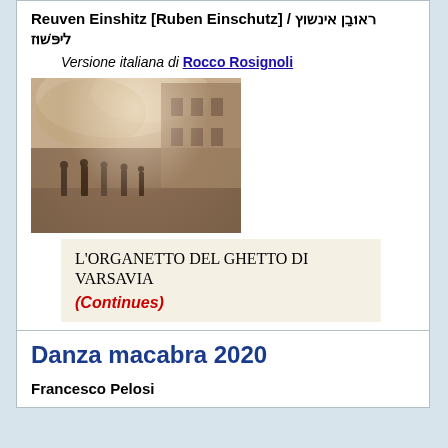Reuven Einshitz [Ruben Einschutz] / ראובן אינשוץ ליפּשוץ
Versione italiana di Rocco Rosignoli
[Figure (photo): Historical black and white/sepia photograph showing people standing in a street scene, likely Warsaw Ghetto]
L'ORGANETTO DEL GHETTO DI VARSAVIA
(Continues)
Contributed by Dq82 2020/4/25 - 16:38
Danza macabra 2020
Francesco Pelosi